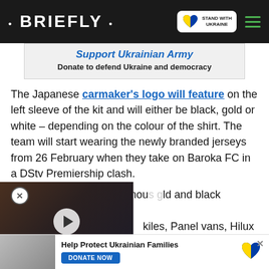• BRIEFLY •
[Figure (infographic): Stand With Ukraine badge with heart icon and hamburger menu]
[Figure (infographic): Banner ad: Support Ukrainian Army – Donate to defend Ukraine and democracy]
The Japanese carmaker's logo will feature on the left sleeve of the kit and will either be black, gold or white – depending on the colour of the shirt. The team will start wearing the newly branded jerseys from 26 February when they take on Baroka FC in a DStv Premiership clash.
All branded in the famous gold and black colours. The ...kiles, Panel vans, Hilux bakkies, ...oss models and a Land Cruiser ...official vehicle supplier since
[Figure (screenshot): Video thumbnail showing two people, with play button, label 'SHE DIRECTED THE END OF HER MARRIAGE' and red down-arrow button]
[Figure (infographic): Bottom ad: Help Protect Ukrainian Families – DONATE NOW button with Ukraine heart logo]